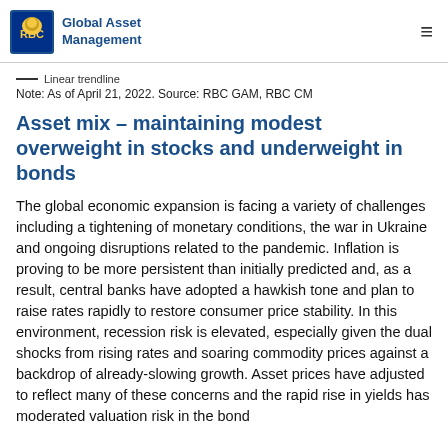RBC Global Asset Management
— Linear trendline
Note: As of April 21, 2022. Source: RBC GAM, RBC CM
Asset mix – maintaining modest overweight in stocks and underweight in bonds
The global economic expansion is facing a variety of challenges including a tightening of monetary conditions, the war in Ukraine and ongoing disruptions related to the pandemic. Inflation is proving to be more persistent than initially predicted and, as a result, central banks have adopted a hawkish tone and plan to raise rates rapidly to restore consumer price stability. In this environment, recession risk is elevated, especially given the dual shocks from rising rates and soaring commodity prices against a backdrop of already-slowing growth. Asset prices have adjusted to reflect many of these concerns and the rapid rise in yields has moderated valuation risk in the bond